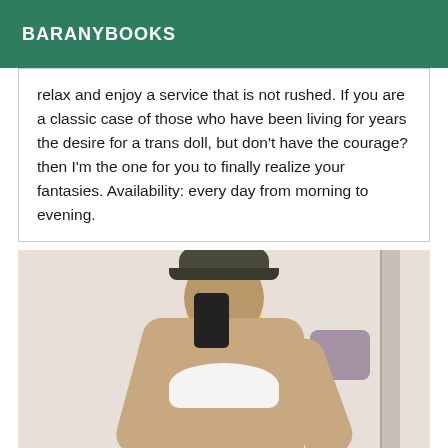BARANYBOOKS
relax and enjoy a service that is not rushed. If you are a classic case of those who have been living for years the desire for a trans doll, but don't have the courage? then I'm the one for you to finally realize your fantasies. Availability: every day from morning to evening.
[Figure (photo): A person taking a mirror selfie wearing a dark cap obscuring their face, blonde hair, white bikini top, tanned skin. A purple cushion is visible in the background along with a white wall and door frame.]